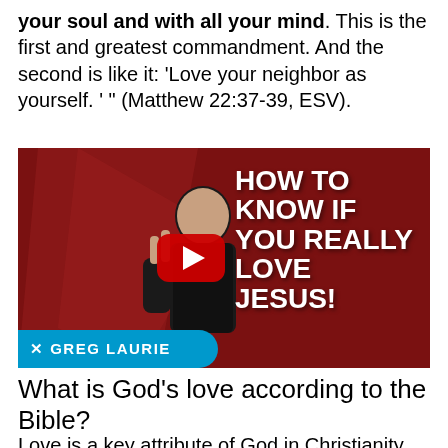your soul and with all your mind. This is the first and greatest commandment. And the second is like it: 'Love your neighbor as yourself. ' " (Matthew 22:37-39, ESV).
[Figure (screenshot): YouTube video thumbnail showing a bald male presenter making a hand gesture, with text overlay reading 'HOW TO KNOW IF YOU REALLY LOVE JESUS!' and a Greg Laurie banner at the bottom left, with a red play button in the center.]
What is God’s love according to the Bible?
Love is a key attribute of God in Christianity.